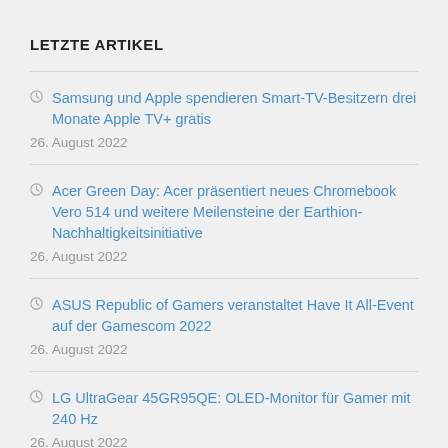LETZTE ARTIKEL
Samsung und Apple spendieren Smart-TV-Besitzern drei Monate Apple TV+ gratis
26. August 2022
Acer Green Day: Acer präsentiert neues Chromebook Vero 514 und weitere Meilensteine der Earthion-Nachhaltigkeitsinitiative
26. August 2022
ASUS Republic of Gamers veranstaltet Have It All-Event auf der Gamescom 2022
26. August 2022
LG UltraGear 45GR95QE: OLED-Monitor für Gamer mit 240 Hz
26. August 2022